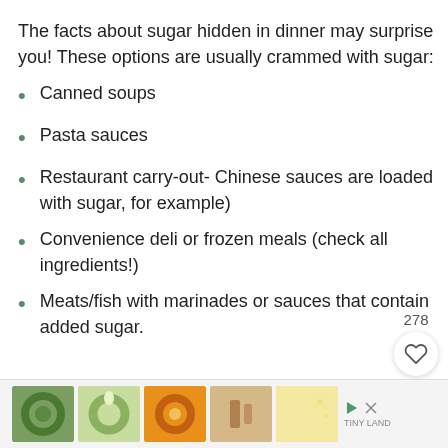The facts about sugar hidden in dinner may surprise you! These options are usually crammed with sugar:
Canned soups
Pasta sauces
Restaurant carry-out- Chinese sauces are loaded with sugar, for example)
Convenience deli or frozen meals (check all ingredients!)
Meats/fish with marinades or sauces that contain added sugar.
[Figure (infographic): Advertisement banner with 5 small thumbnail images of decorative items (wreaths, moon decor) and a Tiny Land logo with play/close icons]
278 likes